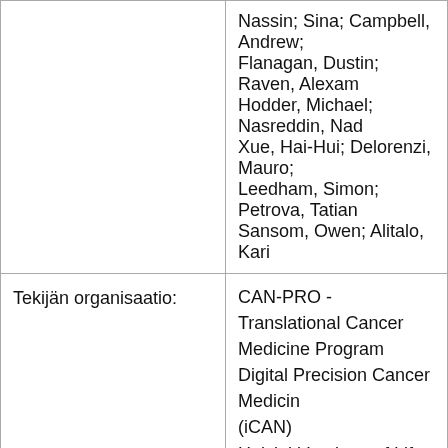| Field | Value |
| --- | --- |
|  | Nassin; Sina; Campbell, Andrew; Flanagan, Dustin; Raven, Alexander; Hodder, Michael; Nasreddin, Nad; Xue, Hai-Hui; Delorenzi, Mauro; Leedham, Simon; Petrova, Tatiana; Sansom, Owen; Alitalo, Kari |
| Tekijän organisaatio: | CAN-PRO - Translational Cancer Medicine Program
Digital Precision Cancer Medicine (iCAN)
Helsinki Institute of Life Science
HiLIFE
HUSLAB
Kari Alitalo / Principal Investigato |
| Päiväys: | 2021-11 |
| Kieli: | eng |
|  |  |